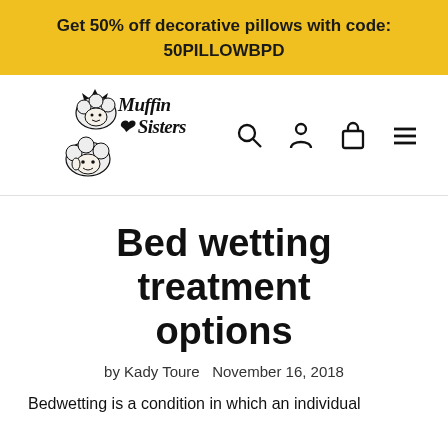Get 50% off decorative pillows with code: 50PILLOWBPD
[Figure (logo): Muffin Sisters logo with cartoon sheep/muffin characters and stylized text]
Bed wetting treatment options
by Kady Toure   November 16, 2018
Bedwetting is a condition in which an individual